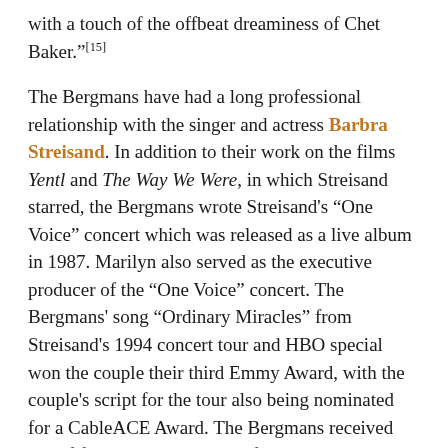with a touch of the offbeat dreaminess of Chet Baker."[15]
The Bergmans have had a long professional relationship with the singer and actress Barbra Streisand. In addition to their work on the films Yentl and The Way We Were, in which Streisand starred, the Bergmans wrote Streisand's "One Voice" concert which was released as a live album in 1987. Marilyn also served as the executive producer of the "One Voice" concert. The Bergmans' song "Ordinary Miracles" from Streisand's 1994 concert tour and HBO special won the couple their third Emmy Award, with the couple's script for the tour also being nominated for a CableACE Award. The Bergmans received their fifth Emmy nomination for the song "On the Way to Becoming Me" (music by Marvin Hamlisch) from the AFI tribute to Streisand.[2] The Bergmans have also served as board members of Streisand's charitable foundation.[16] Streisand's 2011 album What Matters Most was recorded in tribute to the Bergmans, and featured ten songs by the couple that she had not